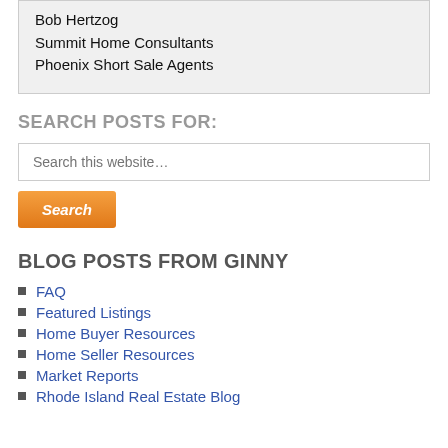Bob Hertzog
Summit Home Consultants
Phoenix Short Sale Agents
SEARCH POSTS FOR:
Search this website…
Search
BLOG POSTS FROM GINNY
FAQ
Featured Listings
Home Buyer Resources
Home Seller Resources
Market Reports
Rhode Island Real Estate Blog